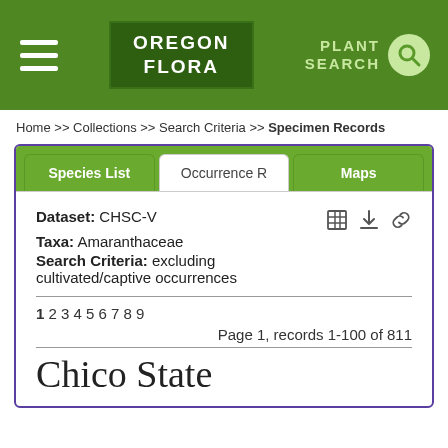[Figure (screenshot): Oregon Flora website header with hamburger menu, Oregon Flora logo in dark green box, and Plant Search icon on green background]
Home >> Collections >> Search Criteria >> Specimen Records
Dataset: CHSC-V  Taxa: Amaranthaceae  Search Criteria: excluding cultivated/captive occurrences
1 2 3 4 5 6 7 8 9
Page 1, records 1-100 of 811
Chico State